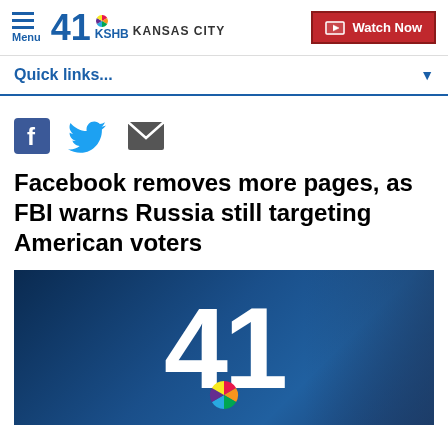Menu  41 KSHB  KANSAS CITY  Watch Now
Quick links...
[Figure (other): Social sharing icons: Facebook, Twitter, Email]
Facebook removes more pages, as FBI warns Russia still targeting American voters
[Figure (photo): KSHB 41 Kansas City news station logo image with large white 41 on dark blue background and NBC peacock logo]